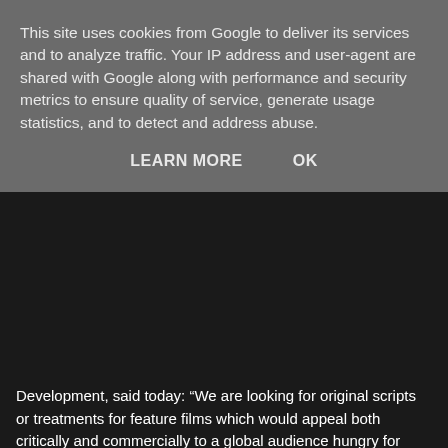This site uses cookies from Google to deliver its services and to analyze traffic. Your IP address and user-agent are shared with Google along with performance and security metrics to ensure quality of service, generate usage statistics, and to detect and address abuse.
LEARN MORE   OK
Development, said today: “We are looking for original scripts or treatments for feature films which would appeal both critically and commercially to a global audience hungry for bold, diverse new voices in the realm of daring, thrilling, fiercely entertaining genre cinema. We want to unearth the UK’s Julie Ducournau or Ti West, Jennifer Kent or Simon Barrett, Jordan Peele, Ana Lily Amirpour or David Robert Mitchell. We know you’re out there, so don’t hold back. If you think your idea is original the chances are we will too. Suckerpunch us with your brilliance.”
Applications are now open through submission forms. The deadline is Fri 4th August. All successful applicants will be notified by Mon 14th August. All participants are expected to